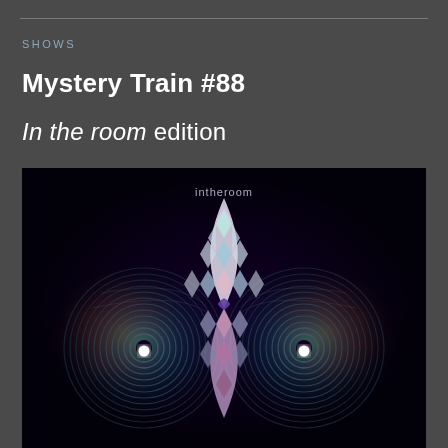SHOWS
Mystery Train #88
In the room edition
[Figure (illustration): Abstract digital artwork for 'intheroom' — symmetrical design featuring two concentric circle vinyl record-like rings with bright white dots at center, flanked by colorful glowing halos (teal/orange), with a central diamond/leaf lattice pattern in pastel pink, purple, teal and cream tones, on a deep dark purple-black background. The text 'intheroom' appears in small light letters near the top center.]